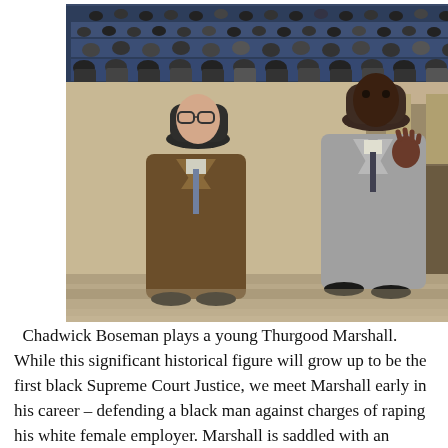[Figure (photo): A composite photo showing two scenes from the film Marshall. The top strip shows a formal assembly or courtroom scene with many people seated. The main large image shows two men in period overcoats and hats standing face to face outside a building — one heavier-set white man and one tall Black man with his hand raised in a speaking gesture.]
Chadwick Boseman plays a young Thurgood Marshall. While this significant historical figure will grow up to be the first black Supreme Court Justice, we meet Marshall early in his career – defending a black man against charges of raping his white female employer. Marshall is saddled with an unlikely partner – a Jewish attorney, Josh Gad, who wants nothing to do with the notoriety this case will bring. Both discover that nothing and no one is as